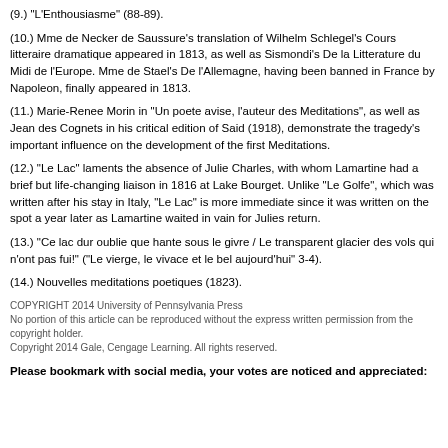(9.) "L'Enthousiasme" (88-89).
(10.) Mme de Necker de Saussure's translation of Wilhelm Schlegel's Cours litteraire dramatique appeared in 1813, as well as Sismondi's De la Litterature du Midi de l'Europe. Mme de Stael's De l'Allemagne, having been banned in France by Napoleon, finally appeared in 1813.
(11.) Marie-Renee Morin in "Un poete avise, l'auteur des Meditations", as well as Jean des Cognets in his critical edition of Said (1918), demonstrate the tragedy's important influence on the development of the first Meditations.
(12.) "Le Lac" laments the absence of Julie Charles, with whom Lamartine had a brief but life-changing liaison in 1816 at Lake Bourget. Unlike "Le Golfe", which was written after his stay in Italy, "Le Lac" is more immediate since it was written on the spot a year later as Lamartine waited in vain for Julies return.
(13.) "Ce lac dur oublie que hante sous le givre / Le transparent glacier des vols qui n'ont pas fui!" ("Le vierge, le vivace et le bel aujourd'hui" 3-4).
(14.) Nouvelles meditations poetiques (1823).
COPYRIGHT 2014 University of Pennsylvania Press
No portion of this article can be reproduced without the express written permission from the copyright holder.
Copyright 2014 Gale, Cengage Learning. All rights reserved.
Please bookmark with social media, your votes are noticed and appreciated: